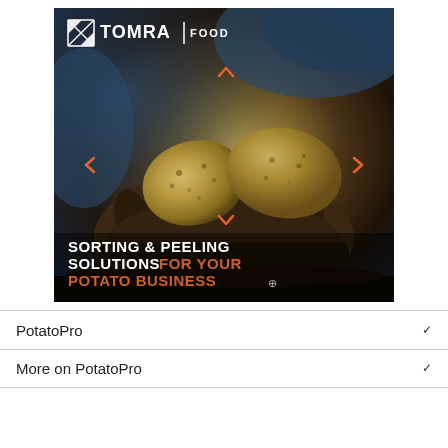[Figure (illustration): TOMRA Food advertisement banner showing hands holding potatoes against a dark background with orange arrow chevrons pointing in four directions. Text reads 'SORTING & PEELING SOLUTIONS FOR YOUR POTATO BUSINESS' with a cursor icon. TOMRA Food logo in top left.]
PotatoPro
More on PotatoPro